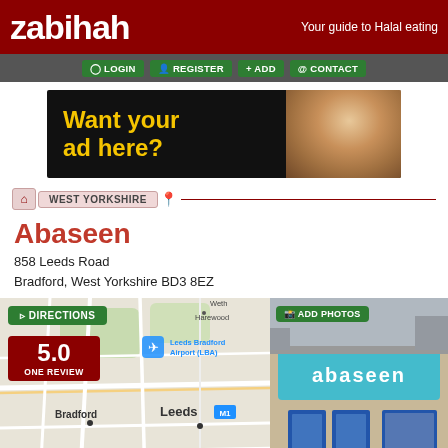zabihah — Your guide to Halal eating
[Figure (screenshot): Navigation bar with LOGIN, REGISTER, ADD, CONTACT buttons on dark grey background]
[Figure (screenshot): Advertisement banner with text 'Want your ad here?' on dark background with photo of a woman in hijab]
[Figure (screenshot): Breadcrumb navigation showing home icon and WEST YORKSHIRE region with map pin icon]
Abaseen
858 Leeds Road
Bradford, West Yorkshire BD3 8EZ
[Figure (map): Map showing Bradford and Leeds area with Leeds Bradford Airport (LBA) marked. Green DIRECTIONS button and red rating box showing 5.0 ONE REVIEW overlaid on map.]
[Figure (photo): Photo of Abaseen restaurant storefront with teal/cyan signage and blue doors. ADD PHOTOS button overlay. Copyright 2013 zabihah.com]